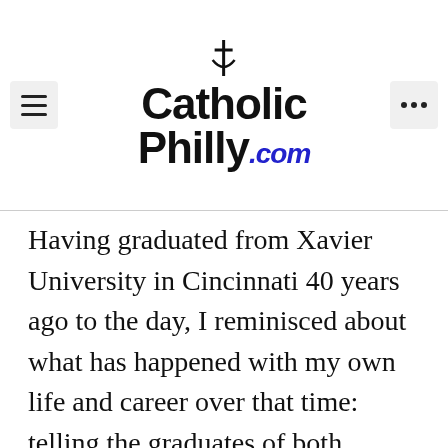CatholicPhilly.com
Having graduated from Xavier University in Cincinnati 40 years ago to the day, I reminisced about what has happened with my own life and career over that time: telling the graduates of both triumph and trial.